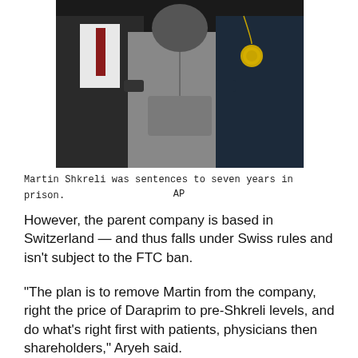[Figure (photo): A person in a gray hoodie being escorted by two individuals in dark suits, one wearing a badge, against a dark background. This appears to be a law enforcement arrest photo of Martin Shkreli.]
Martin Shkreli was sentences to seven years in prison.
AP
However, the parent company is based in Switzerland — and thus falls under Swiss rules and isn't subject to the FTC ban.
“The plan is to remove Martin from the company, right the price of Daraprim to pre-Shkreli levels, and do what’s right first with patients, physicians then shareholders,” Aryeh said.